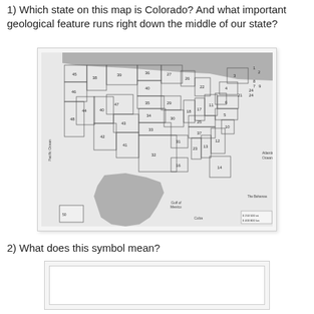1) Which state on this map is Colorado? And what important geological feature runs right down the middle of our state?
[Figure (map): Numbered map of the United States with states labeled by number. Canada and Mexico are shown in gray. Numbers visible include 45, 38, 44, 39, 36, 27, 26, 28, 20, 1, 2, 3, 7, 8, 9, 21, 47, 43, 40, 34, 29, 18, 25, 24, 22, 23, 10, 6, 4, 5, 11, 12, 13, 33, 30, 37, 42, 41, 31, 16, 35, 32, 56, 23, 14, 49, 50 (Hawaii inset). Pacific Ocean and Atlantic Ocean labeled. Gulf of Mexico label. The Bahamas label. Cuba label.]
2) What does this symbol mean?
[Figure (other): Blank white rectangle inside a light gray box, presumably showing a map symbol to be identified.]